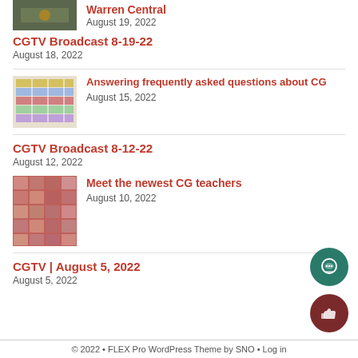[Figure (photo): Partial sports/basketball thumbnail at top]
Warren Central
August 19, 2022
CGTV Broadcast 8-19-22
August 18, 2022
[Figure (photo): Colorful schedule or chart board on wall]
Answering frequently asked questions about CG
August 15, 2022
CGTV Broadcast 8-12-22
August 12, 2022
[Figure (photo): Grid of teacher headshots]
Meet the newest CG teachers
August 10, 2022
CGTV | August 5, 2022
August 5, 2022
© 2022 • FLEX Pro WordPress Theme by SNO • Log in